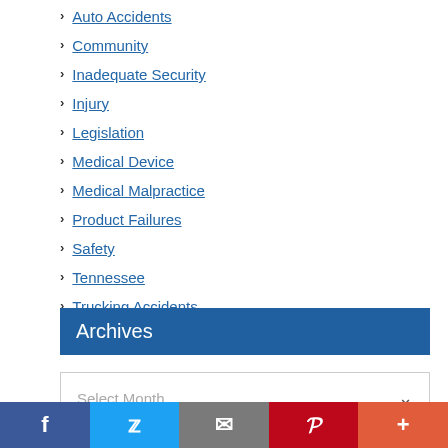Auto Accidents
Community
Inadequate Security
Injury
Legislation
Medical Device
Medical Malpractice
Product Failures
Safety
Tennessee
Trucking Accidents
Wrongful Death
Archives
Select Month
Tags
auto safety